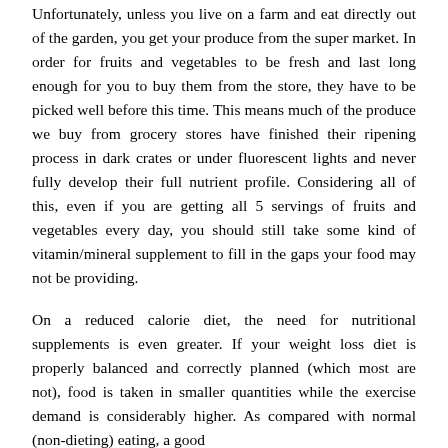Unfortunately, unless you live on a farm and eat directly out of the garden, you get your produce from the super market. In order for fruits and vegetables to be fresh and last long enough for you to buy them from the store, they have to be picked well before this time. This means much of the produce we buy from grocery stores have finished their ripening process in dark crates or under fluorescent lights and never fully develop their full nutrient profile. Considering all of this, even if you are getting all 5 servings of fruits and vegetables every day, you should still take some kind of vitamin/mineral supplement to fill in the gaps your food may not be providing.
On a reduced calorie diet, the need for nutritional supplements is even greater. If your weight loss diet is properly balanced and correctly planned (which most are not), food is taken in smaller quantities while the exercise demand is considerably higher. As compared with normal (non-dieting) eating, a good